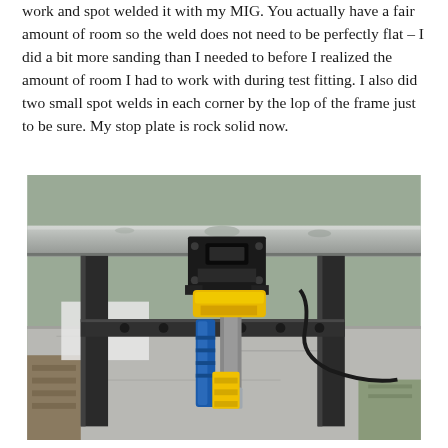work and spot welded it with my MIG. You actually have a fair amount of room so the weld does not need to be perfectly flat – I did a bit more sanding than I needed to before I realized the amount of room I had to work with during test fitting. I also did two small spot welds in each corner by the lop of the frame just to be sure. My stop plate is rock solid now.
[Figure (photo): Under-table view showing a metal frame with a black clamp/stop plate mechanism mounted to it, with a yellow and blue bar clamp attached below, set in a workshop with concrete floor and wood pieces visible in the background.]